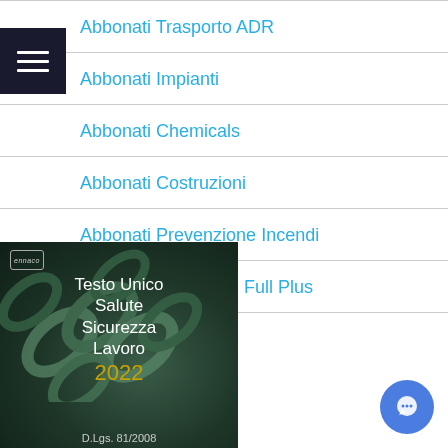Abbonati Trasporto ADR
Abbonati Impianti
Abbonati Chemicals
Abbonati Costruzioni
Abbonati Prevenzione Incendi
Documenti esclusivi Full Plus
[Figure (illustration): Book cover: Testo Unico Salute Sicurezza Lavoro 2022, D.Lgs. 81/2008, dark green background with chain links, published by Ennaco]